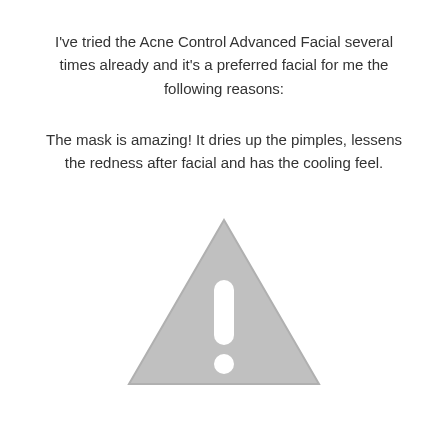I've tried the Acne Control Advanced Facial several times already and it's a preferred facial for me the following reasons:
The mask is amazing! It dries up the pimples, lessens the redness after facial and has the cooling feel.
[Figure (illustration): A grey warning triangle icon with a white exclamation mark inside]